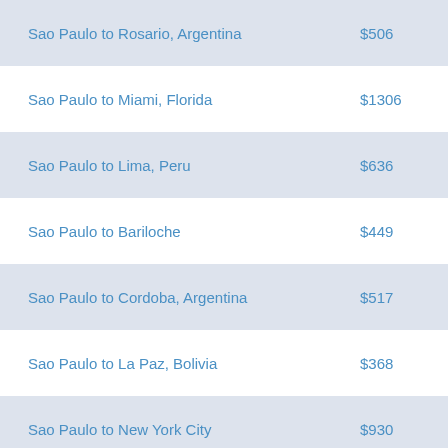| Route | Price |
| --- | --- |
| Sao Paulo to Rosario, Argentina | $506 |
| Sao Paulo to Miami, Florida | $1306 |
| Sao Paulo to Lima, Peru | $636 |
| Sao Paulo to Bariloche | $449 |
| Sao Paulo to Cordoba, Argentina | $517 |
| Sao Paulo to La Paz, Bolivia | $368 |
| Sao Paulo to New York City | $930 |
| Sao Paulo to Iguazu | $316 |
| Sao Paulo to Cuzco | $641 |